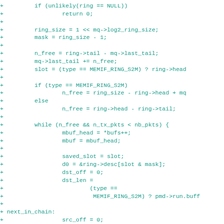[Figure (other): Source code diff fragment in C, showing added lines (prefixed with +) for a network ring buffer transmit function including ring size calculation, free slot counting, and packet processing loop with mbuf handling.]